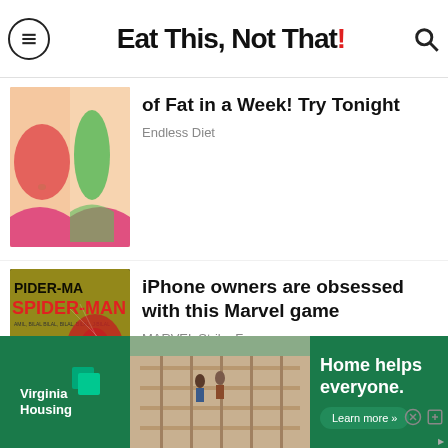Eat This, Not That!
[Figure (photo): Illustrated torso showing fat areas in red and green, diet ad thumbnail]
of Fat in a Week! Try Tonight
Endless Diet
[Figure (photo): Spider-Man Marvel Strike Force game advertisement thumbnail showing Spider-Man character with PIDER-MA and SPIDER-MAN text, prize 72,728]
iPhone owners are obsessed with this Marvel game
MARVEL Strike Force
[Figure (photo): Virginia Housing advertisement banner with green background, house photo, and text Home helps everyone with Learn more button]